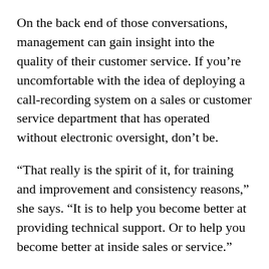On the back end of those conversations, management can gain insight into the quality of their customer service. If you’re uncomfortable with the idea of deploying a call-recording system on a sales or customer service department that has operated without electronic oversight, don’t be.
“That really is the spirit of it, for training and improvement and consistency reasons,” she says. “It is to help you become better at providing technical support. Or to help you become better at inside sales or service.”
Seeking feedback is an exercise in vulnerability and, regardless of which structure you chose, you’re far from finished once the scores are in. Information is of